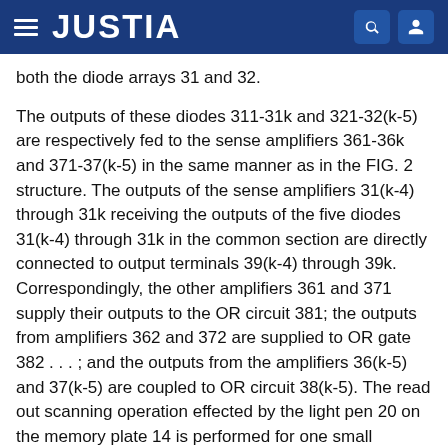JUSTIA
both the diode arrays 31 and 32.
The outputs of these diodes 311-31k and 321-32(k-5) are respectively fed to the sense amplifiers 361-36k and 371-37(k-5) in the same manner as in the FIG. 2 structure. The outputs of the sense amplifiers 31(k-4) through 31k receiving the outputs of the five diodes 31(k-4) through 31k in the common section are directly connected to output terminals 39(k-4) through 39k. Correspondingly, the other amplifiers 361 and 371 supply their outputs to the OR circuit 381; the outputs from amplifiers 362 and 372 are supplied to OR gate 382 . . . ; and the outputs from the amplifiers 36(k-5) and 37(k-5) are coupled to OR circuit 38(k-5). The read out scanning operation effected by the light pen 20 on the memory plate 14 is performed for one small hologram at a time to develop the characters for the above mentioned computer input